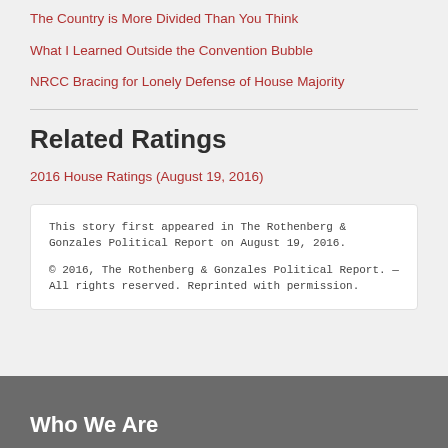The Country is More Divided Than You Think
What I Learned Outside the Convention Bubble
NRCC Bracing for Lonely Defense of House Majority
Related Ratings
2016 House Ratings (August 19, 2016)
This story first appeared in The Rothenberg & Gonzales Political Report on August 19, 2016.

© 2016, The Rothenberg & Gonzales Political Report. — All rights reserved. Reprinted with permission.
Who We Are